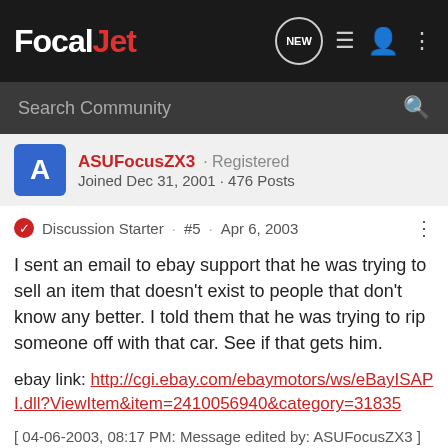FocalJet
Search Community
ASUFocusZX3 · Registered
Joined Dec 31, 2001 · 476 Posts
Discussion Starter · #5 · Apr 6, 2003
I sent an email to ebay support that he was trying to sell an item that doesn't exist to people that don't know any better. I told them that he was trying to rip someone off with that car. See if that gets him.
ebay link: http://cgi.ebay.com/ebaymotors/ws/eBayISAPI.dll?ViewItem&item=2410056940&category=31835
[ 04-06-2003, 08:17 PM: Message edited by: ASUFocusZX3 ]